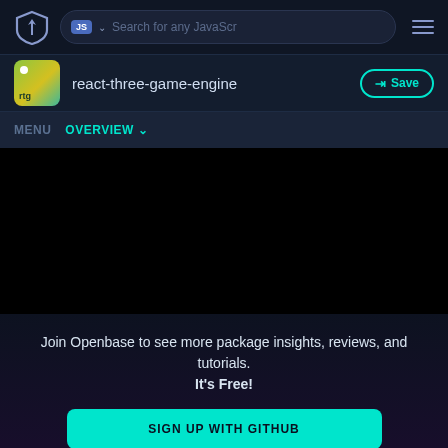JS  Search for any JavaScr
react-three-game-engine
Save
MENU  OVERVIEW
[Figure (screenshot): Blurred/obscured dark content area representing gated package content]
Join Openbase to see more package insights, reviews, and tutorials. It's Free!
SIGN UP WITH GITHUB
By signing up, you agree to our terms and privacy policy